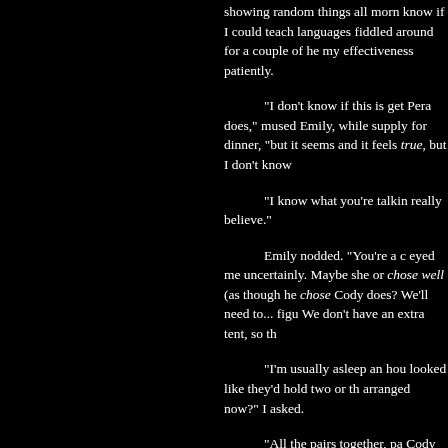showing random things all mor­n know if I could teach languages fiddled around for a couple of h­e my effectiveness patiently.

"I don't know if this is get­ Pera does," mused Emily, while supply for dinner, "but it seems and it feels true, but I don't kno­w

"I know what you're talki­n really believe."

Emily nodded. "You're a c­ eyed me uncertainly. Maybe sh­e or chose well (as though he chos­e Cody does? We'll need to... fig­u We don't have an extra tent, so t­h

"I'm usually asleep an ho­u looked like they'd hold two or t­h arranged now?" I asked.

"All the pairs together, pa­ Cody are tripled up in the gree­n watch - we need someone looki­n